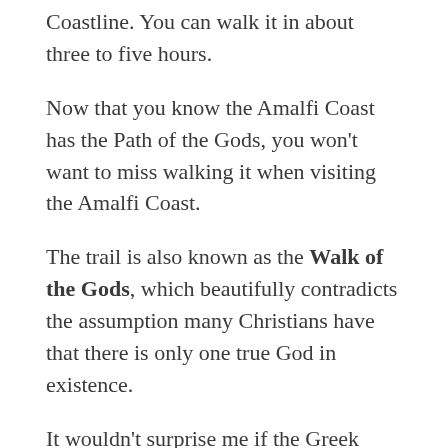Coastline. You can walk it in about three to five hours.
Now that you know the Amalfi Coast has the Path of the Gods, you won't want to miss walking it when visiting the Amalfi Coast.
The trail is also known as the Walk of the Gods, which beautifully contradicts the assumption many Christians have that there is only one true God in existence.
It wouldn't surprise me if the Greek Gods themselves walked along this glorious clifftop pathway at some point in time.